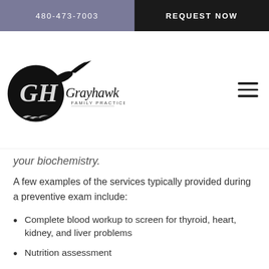480-473-7003 | REQUEST NOW
[Figure (logo): Grayhawk Family Practice logo with a hawk silhouette in a circle and script/serif text]
your biochemistry.
A few examples of the services typically provided during a preventive exam include:
Complete blood workup to screen for thyroid, heart, kidney, and liver problems
Nutrition assessment
Weight loss management
Well-child exams and developmental screening